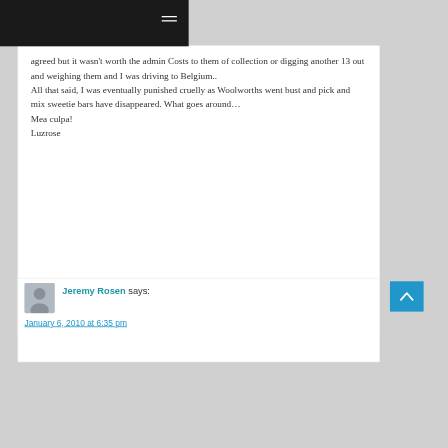agreed but it wasn't worth the admin Costs to them of collection or digging another 13 out and weighing them and I was driving to Belgium..
All that said, I was eventually punished cruelly as Woolworths went bust and pick and mix sweetie bars have disappeared. What goes around…
Mea culpa!
Luzrose
Jeremy Rosen says:
January 6, 2010 at 6:35 pm